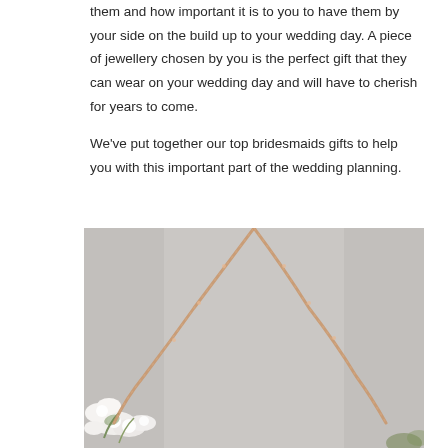them and how important it is to you to have them by your side on the build up to your wedding day. A piece of jewellery chosen by you is the perfect gift that they can wear on your wedding day and will have to cherish for years to come.
We've put together our top bridesmaids gifts to help you with this important part of the wedding planning.
[Figure (photo): Photo of a rose gold necklace chain forming a V shape against a grey background, with white flowers visible in the lower left corner.]